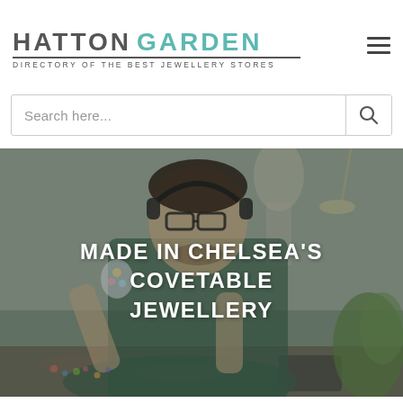HATTON GARDEN — DIRECTORY OF THE BEST JEWELLERY STORES
Search here...
[Figure (photo): Man with headphones and glasses wearing a green turtleneck, examining jewellery at a workbench, with a mannequin in the background. Overlaid white text reads MADE IN CHELSEA'S COVETABLE JEWELLERY.]
MADE IN CHELSEA'S COVETABLE JEWELLERY